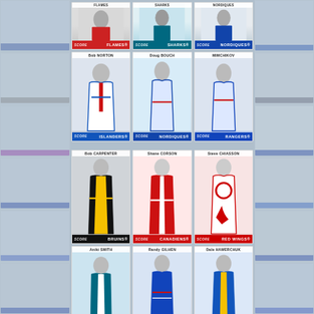[Figure (photo): Collage of hockey and baseball trading cards. Center shows Score hockey cards in a 4-row grid: Row 1 (partial): Flames, Sharks, Nordiques cards. Row 2: Bob Norton (Islanders), Doug Bouch (Nordiques), Mimchikov (Rangers). Row 3: Bob Carpenter (Bruins), Shane Corson (Canadiens), Steve Chiasson (Red Wings). Row 4 (partial): Aniki Smith (Sharks), Randy Gilhen (Rangers), Dale Hawortschuk (Sabres). Faded baseball/hockey cards appear in left and right background columns.]